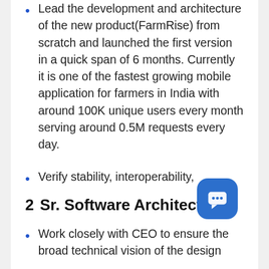Lead the development and architecture of the new product(FarmRise) from scratch and launched the first version in a quick span of 6 months. Currently it is one of the fastest growing mobile application for farmers in India with around 100K unique users every month serving around 0.5M requests every day.
Verify stability, interoperability, portability, security, or scalability of system architecture.
2  Sr. Software Architect
Work closely with CEO to ensure the broad technical vision of the design...